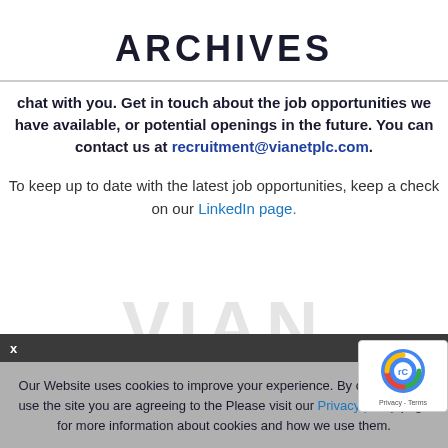ARCHIVES
chat with you. Get in touch about the job opportunities we have available, or potential openings in the future. You can contact us at recruitment@vianetplc.com.
To keep up to date with the latest job opportunities, keep a check on our LinkedIn page.
Our Website uses cookies to improve your experience. By continuing to use the site you are agreeing to the Please visit our Privacy policy page for more information about cookies and how we use them.